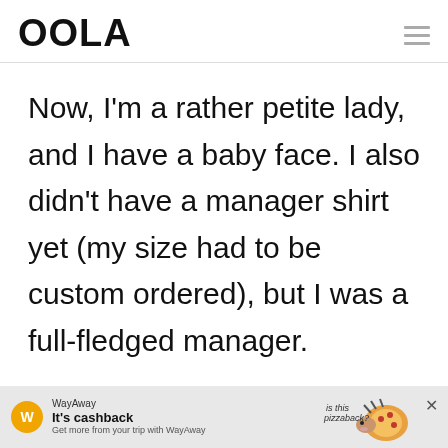OOLA
Now, I'm a rather petite lady, and I have a baby face. I also didn't have a manager shirt yet (my size had to be custom ordered), but I was a full-fledged manager.

I said I was the manager and asked
[Figure (other): WayAway advertisement banner: logo icon, headline 'It's cashback', subtext 'Get more from your trip with WayAway', illustrated pizza hedgehog image, close button X]